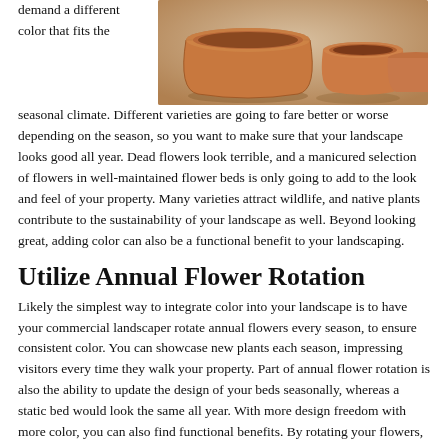demand a different color that fits the seasonal climate. Different varieties are going to fare better or worse depending on the season, so you want to make sure that your landscape looks good all year. Dead flowers look terrible, and a manicured selection of flowers in well-maintained flower beds is only going to add to the look and feel of your property. Many varieties attract wildlife, and native plants contribute to the sustainability of your landscape as well. Beyond looking great, adding color can also be a functional benefit to your landscaping.
[Figure (photo): Terracotta clay pots/planters sitting on a surface in sunlight]
Utilize Annual Flower Rotation
Likely the simplest way to integrate color into your landscape is to have your commercial landscaper rotate annual flowers every season, to ensure consistent color. You can showcase new plants each season, impressing visitors every time they walk your property. Part of annual flower rotation is also the ability to update the design of your beds seasonally, whereas a static bed would look the same all year. With more design freedom with more color, you can also find functional benefits. By rotating your flowers, you allow for the soil to remain balanced, and lower the chances of pests or disease taking over as they can never truly take hold.